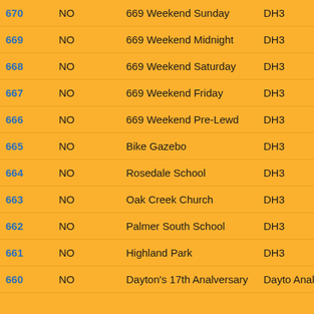|  |  | Name | DH3... |
| --- | --- | --- | --- |
| 670 | NO | 669 Weekend Sunday | DH3 |
| 669 | NO | 669 Weekend Midnight | DH3 |
| 668 | NO | 669 Weekend Saturday | DH3 |
| 667 | NO | 669 Weekend Friday | DH3 |
| 666 | NO | 669 Weekend Pre-Lewd | DH3 |
| 665 | NO | Bike Gazebo | DH3 |
| 664 | NO | Rosedale School | DH3 |
| 663 | NO | Oak Creek Church | DH3 |
| 662 | NO | Palmer South School | DH3 |
| 661 | NO | Highland Park | DH3 |
| 660 | NO | Dayton's 17th Analversary | Dayton Analy... |